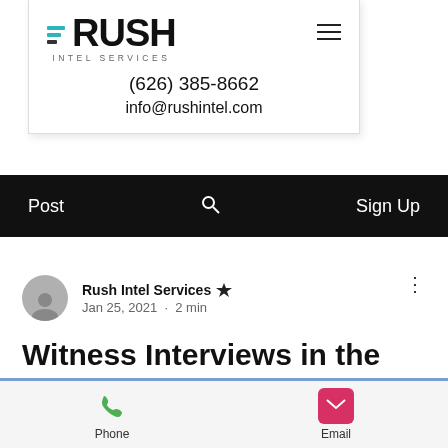Rush Intel Services — (626) 385-8662 — info@rushintel.com
Post   Sign Up
Rush Intel Services  Jan 25, 2021 · 2 min
Witness Interviews in the COVID Era
Phone  Email